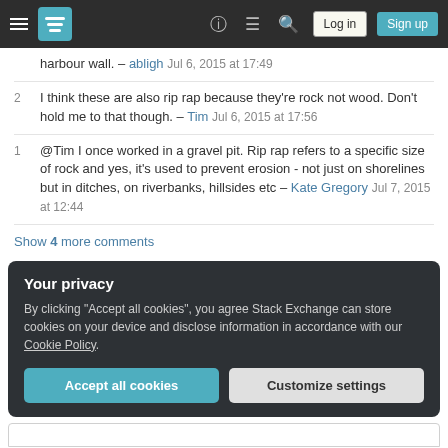Stack Exchange navigation bar with hamburger menu, logo, help, chat, search, Log in, Sign up buttons
harbour wall. – abligh Jul 6, 2015 at 17:49
2  I think these are also rip rap because they're rock not wood. Don't hold me to that though. – Tim Jul 6, 2015 at 17:56
1  @Tim I once worked in a gravel pit. Rip rap refers to a specific size of rock and yes, it's used to prevent erosion - not just on shorelines but in ditches, on riverbanks, hillsides etc – Kate Gregory Jul 7, 2015 at 12:44
Show 4 more comments
Your privacy
By clicking "Accept all cookies", you agree Stack Exchange can store cookies on your device and disclose information in accordance with our Cookie Policy.
Accept all cookies | Customize settings